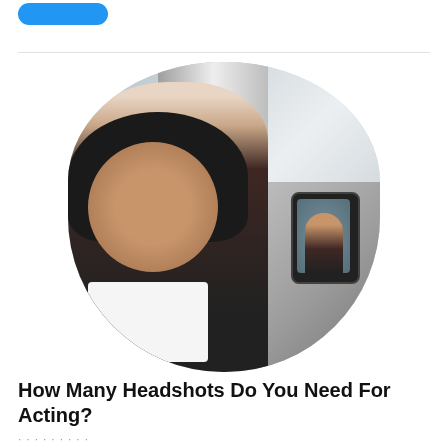[Figure (photo): A woman smiling and holding a phone displaying her headshot photo, in a studio setting with a gray background.]
How Many Headshots Do You Need For Acting?
When you send off headshots to casting